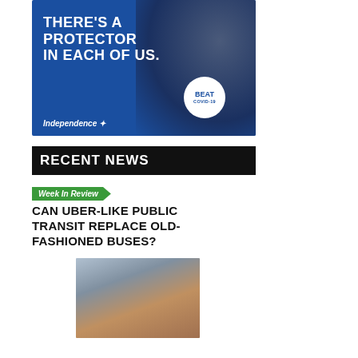[Figure (illustration): Advertisement banner for Independence Blue Cross showing a smiling woman in a dark turtleneck against a blue background. Text reads 'THERE'S A PROTECTOR IN EACH OF US.' with a white circle badge reading 'BEAT COVID-19' and the Independence Blue Cross logo.]
RECENT NEWS
Week In Review
CAN UBER-LIKE PUBLIC TRANSIT REPLACE OLD-FASHIONED BUSES?
[Figure (photo): Photo of people wearing face masks waiting at a bus stop or transit area.]